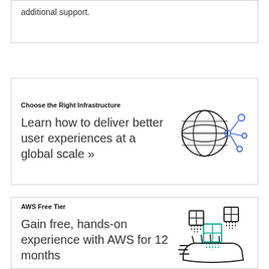additional support.
Choose the Right Infrastructure
Learn how to deliver better user experiences at a global scale »
[Figure (illustration): Globe with network nodes connected by lines, representing global infrastructure]
AWS Free Tier
Gain free, hands-on experience with AWS for 12 months
[Figure (illustration): Hand holding boxes/packages, representing AWS Free Tier cloud service offerings]